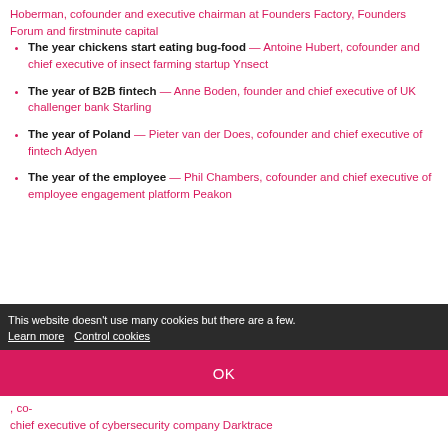Hoberman, cofounder and executive chairman at Founders Factory, Founders Forum and firstminute capital
The year chickens start eating bug-food — Antoine Hubert, cofounder and chief executive of insect farming startup Ynsect
The year of B2B fintech — Anne Boden, founder and chief executive of UK challenger bank Starling
The year of Poland — Pieter van der Does, cofounder and chief executive of fintech Adyen
The year of the employee — Phil Chambers, cofounder and chief executive of employee engagement platform Peakon
This website doesn't use many cookies but there are a few. Learn more  Control cookies
OK
co-chief executive of cybersecurity company Darktrace